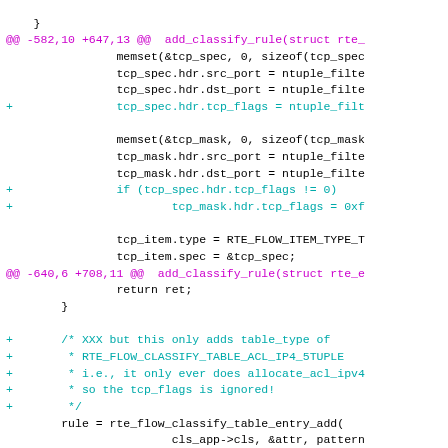Code diff showing changes to flow_classify function including tcp_flags handling and diff header for ipv4_rules_file.txt